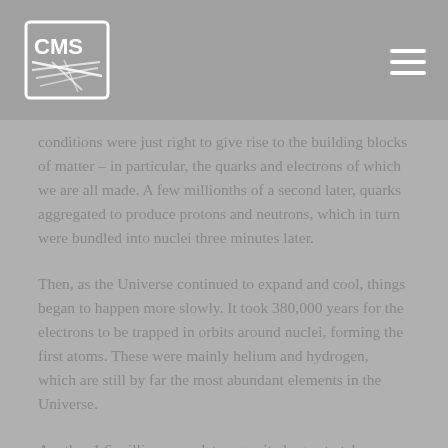CMS
conditions were just right to give rise to the building blocks of matter – in particular, the quarks and electrons of which we are all made. A few millionths of a second later, quarks aggregated to produce protons and neutrons, which in turn were bundled into nuclei three minutes later.
Then, as the Universe continued to expand and cool, things began to happen more slowly. It took 380,000 years for the electrons to be trapped in orbits around nuclei, forming the first atoms. These were mainly helium and hydrogen, which are still by far the most abundant elements in the Universe.
Another 1.6 million years later, gravity began to take